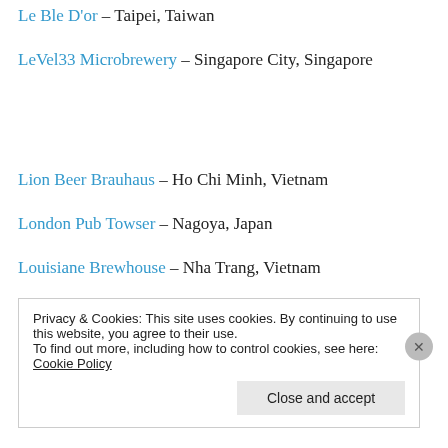Le Ble D'or – Taipei, Taiwan
LeVel33 Microbrewery – Singapore City, Singapore
Lion Beer Brauhaus – Ho Chi Minh, Vietnam
London Pub Towser – Nagoya, Japan
Louisiane Brewhouse – Nha Trang, Vietnam
Privacy & Cookies: This site uses cookies. By continuing to use this website, you agree to their use. To find out more, including how to control cookies, see here: Cookie Policy
Close and accept